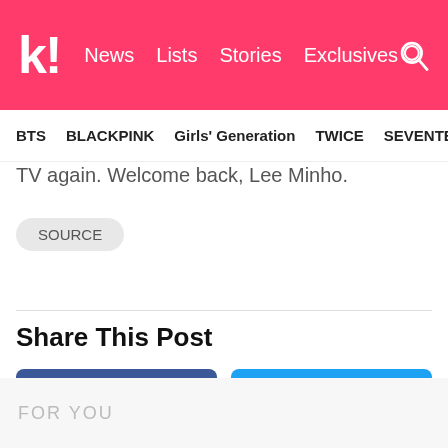k! News Lists Stories Exclusives
BTS  BLACKPINK  Girls' Generation  TWICE  SEVENTEEN
TV again. Welcome back, Lee Minho.
SOURCE
Share This Post
Facebook  Twitter
FOR YOU